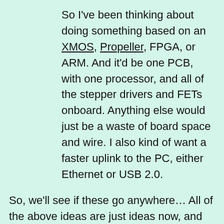So I've been thinking about doing something based on an XMOS, Propeller, FPGA, or ARM. And it'd be one PCB, with one processor, and all of the stepper drivers and FETs onboard. Anything else would just be a waste of board space and wire. I also kind of want a faster uplink to the PC, either Ethernet or USB 2.0.
So, we'll see if these go anywhere… All of the above ideas are just ideas now, and their implementation or lack thereof is subject to my level of boredom!